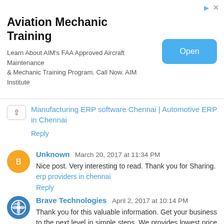[Figure (other): Advertisement banner for Aviation Mechanic Training with Open button]
Manufacturing ERP software Chennai | Automotive ERP in Chennai
Reply
Unknown March 20, 2017 at 11:34 PM
Nice post. Very interesting to read. Thank you for Sharing. erp providers in chennai
Reply
Brave Technologies April 2, 2017 at 10:14 PM
Thank you for this valuable information. Get your business to the next level in simple steps. We provides lowest price of erp Software for our clients erp in Chennai
Reply